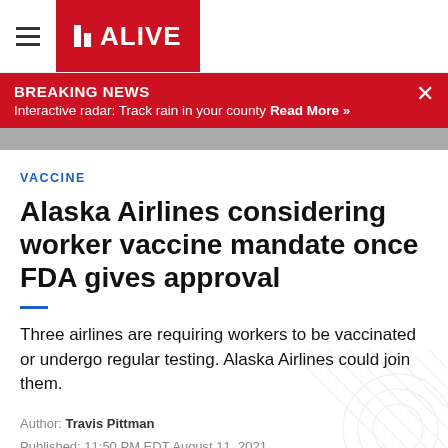11 ALIVE
BREAKING NEWS
Interactive radar: Track rain in your county Read More »
[Figure (photo): Gray image strip representing a news photo banner]
VACCINE
Alaska Airlines considering worker vaccine mandate once FDA gives approval
Three airlines are requiring workers to be vaccinated or undergo regular testing. Alaska Airlines could join them.
Author: Travis Pittman
Published: 11:50 PM EDT August 11, 2021